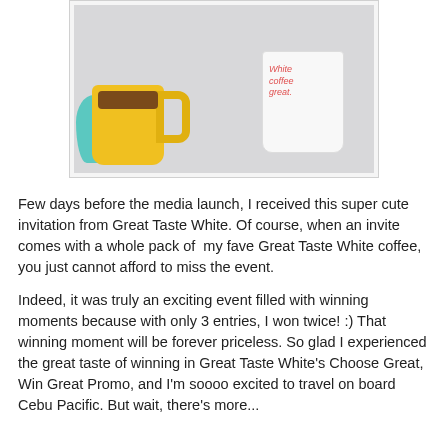[Figure (photo): Photo of a yellow coffee mug with coffee inside, a teal owl figurine, and a white Great Taste White coffee mug on a gray table surface.]
Few days before the media launch, I received this super cute invitation from Great Taste White. Of course, when an invite comes with a whole pack of  my fave Great Taste White coffee, you just cannot afford to miss the event.
Indeed, it was truly an exciting event filled with winning moments because with only 3 entries, I won twice! :) That winning moment will be forever priceless. So glad I experienced the great taste of winning in Great Taste White's Choose Great, Win Great Promo, and I'm soooo excited to travel on board Cebu Pacific. But wait, there's more...